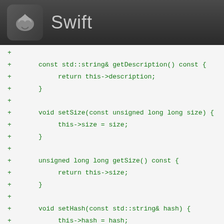Swift
+
+     const std::string& getDescription() const {
+          return this->description;
+     }
+
+     void setSize(const unsigned long long size) {
+          this->size = size;
+     }
+
+     unsigned long long getSize() const {
+          return this->size;
+     }
+
+     void setHash(const std::string& hash) {
+          this->hash = hash;
+     }
+
+     const std::string& getHash() const {
+          return this->hash;
+